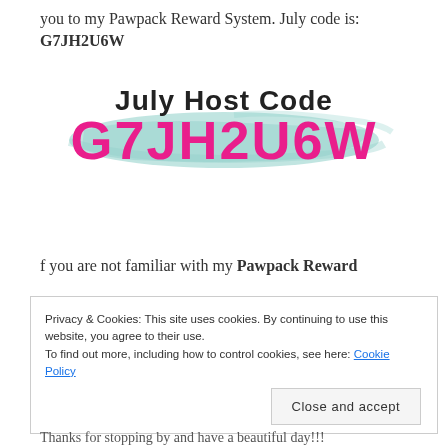you to my Pawpack Reward System. July code is: G7JH2U6W
[Figure (infographic): July Host Code graphic with brush stroke background. Title reads 'July Host Code' in black bold font. Below it the code 'G7JH2U6W' in large magenta/pink bold font over a teal brush stroke.]
f you are not familiar with my Pawpack Reward
Privacy & Cookies: This site uses cookies. By continuing to use this website, you agree to their use.
To find out more, including how to control cookies, see here: Cookie Policy
Close and accept
Thanks for stopping by and have a beautiful day!!!